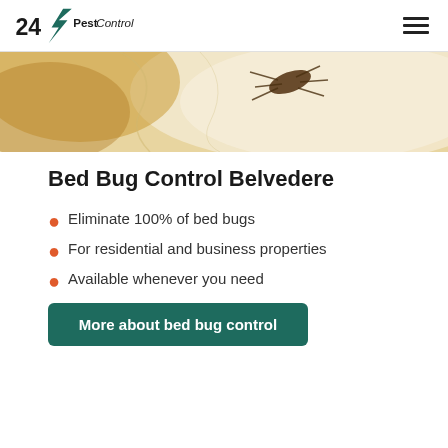24/7 PestControl
[Figure (photo): Close-up macro photo of a bed bug on a light-colored fabric surface]
Bed Bug Control Belvedere
Eliminate 100% of bed bugs
For residential and business properties
Available whenever you need
More about bed bug control